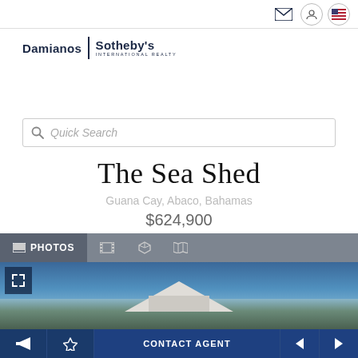[Figure (logo): Damianos Sotheby's International Realty logo]
[Figure (screenshot): Search bar with Quick Search placeholder text]
The Sea Shed
Guana Cay, Abaco, Bahamas
$624,900
[Figure (photo): Property photo showing building with blue sky background and vegetation, with PHOTOS tab navigation bar showing Photos, filmstrip, 3D, and map icons]
CONTACT AGENT